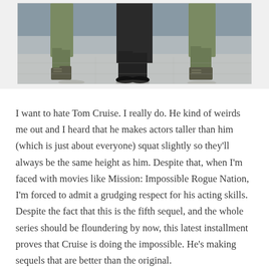[Figure (photo): Bottom portion of two people in military/army camouflage boots and one person in dark civilian shoes walking on a reflective tiled floor]
I want to hate Tom Cruise. I really do. He kind of weirds me out and I heard that he makes actors taller than him (which is just about everyone) squat slightly so they'll always be the same height as him. Despite that, when I'm faced with movies like Mission: Impossible Rogue Nation, I'm forced to admit a grudging respect for his acting skills. Despite the fact that this is the fifth sequel, and the whole series should be floundering by now, this latest installment proves that Cruise is doing the impossible. He's making sequels that are better than the original.
Cruise returns as Ethan, a man working for IMF, the